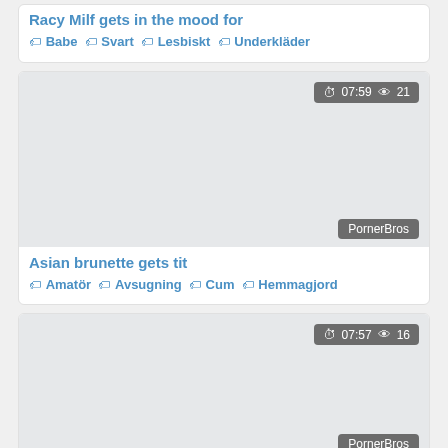Racy Milf gets in the mood for
Babe  Svart  Lesbiskt  Underkläder
[Figure (screenshot): Video thumbnail card with duration badge 07:59 and view count 21, PornerBros watermark]
Asian brunette gets tit
Amatör  Avsugning  Cum  Hemmagjord
[Figure (screenshot): Video thumbnail card with duration badge 07:57 and view count 16, PornerBros watermark]